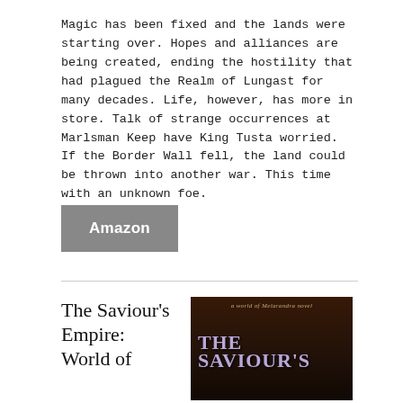Magic has been fixed and the lands were starting over. Hopes and alliances are being created, ending the hostility that had plagued the Realm of Lungast for many decades. Life, however, has more in store. Talk of strange occurrences at Marlsman Keep have King Tusta worried. If the Border Wall fell, the land could be thrown into another war. This time with an unknown foe.
Amazon
The Saviour's Empire: World of
[Figure (illustration): Book cover for 'The Saviour's Empire: a world of Melarandra novel' with dark brown/black background, showing fantasy themed artwork with the title 'THE SAVIOUR'S' in purple/lavender letters]